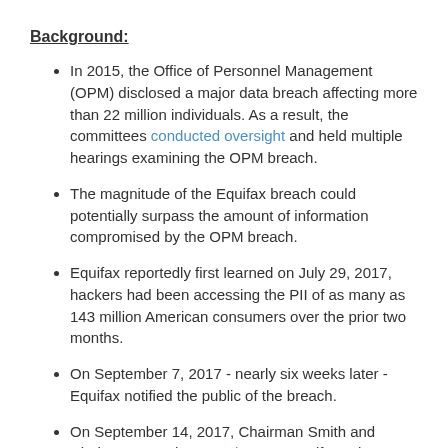Background:
In 2015, the Office of Personnel Management (OPM) disclosed a major data breach affecting more than 22 million individuals. As a result, the committees conducted oversight and held multiple hearings examining the OPM breach.
The magnitude of the Equifax breach could potentially surpass the amount of information compromised by the OPM breach.
Equifax reportedly first learned on July 29, 2017, hackers had been accessing the PII of as many as 143 million American consumers over the prior two months.
On September 7, 2017 - nearly six weeks later - Equifax notified the public of the breach.
On September 14, 2017, Chairman Smith and Chairman Gowdy sent a letter to Equifax's then-CEO